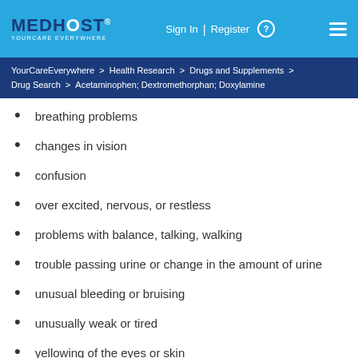MEDHOST YOURCARE EVERYWHERE | Sign In | Register | (menu)
YourCareEverywhere > Health Research > Drugs and Supplements > Drug Search > Acetaminophen; Dextromethorphan; Doxylamine
breathing problems
changes in vision
confusion
over excited, nervous, or restless
problems with balance, talking, walking
trouble passing urine or change in the amount of urine
unusual bleeding or bruising
unusually weak or tired
yellowing of the eyes or skin
Side effects that usually do not require medical attention (cont...)